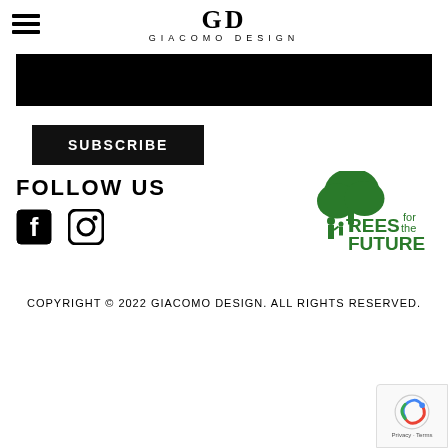GIACOMO DESIGN
[Figure (other): Black rectangular banner/hero image area]
SUBSCRIBE
FOLLOW US
[Figure (logo): Facebook and Instagram social media icons]
[Figure (logo): Trees for the Future logo - green tree silhouette with people and text]
COPYRIGHT © 2022 GIACOMO DESIGN. ALL RIGHTS RESERVED.